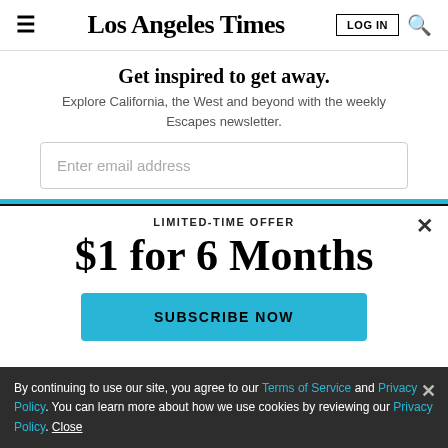Los Angeles Times — LOG IN
Get inspired to get away.
Explore California, the West and beyond with the weekly Escapes newsletter.
Enter email address
LIMITED-TIME OFFER
$1 for 6 Months
SUBSCRIBE NOW
By continuing to use our site, you agree to our Terms of Service and Privacy Policy. You can learn more about how we use cookies by reviewing our Privacy Policy. Close